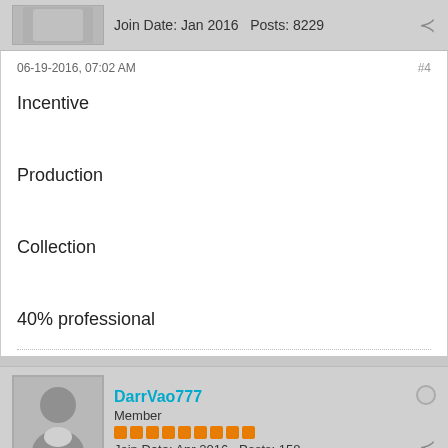Join Date: Jan 2016   Posts: 8229
06-19-2016, 07:02 AM   #4
Incentive

Production

Collection

40% professional
DarrVao777
Member
Join Date: Apr 2016   Posts: 158
06-19-2016, 07:29 AM   #5
Zaphod wrote: